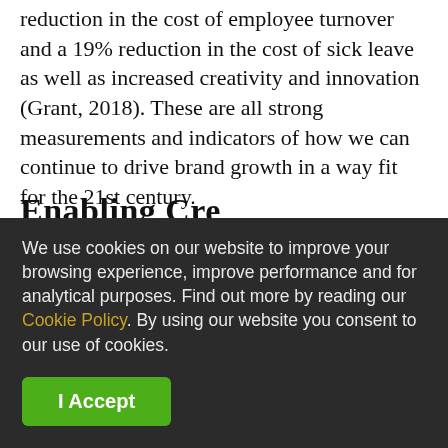reduction in the cost of employee turnover and a 19% reduction in the cost of sick leave as well as increased creativity and innovation (Grant, 2018). These are all strong measurements and indicators of how we can continue to drive brand growth in a way fit for the 21st century.
Enabling Cre...
We use cookies on our website to improve your browsing experience, improve performance and for analytical purposes. Find out more by reading our Cookie Policy. By using our website you consent to our use of cookies.
I Accept